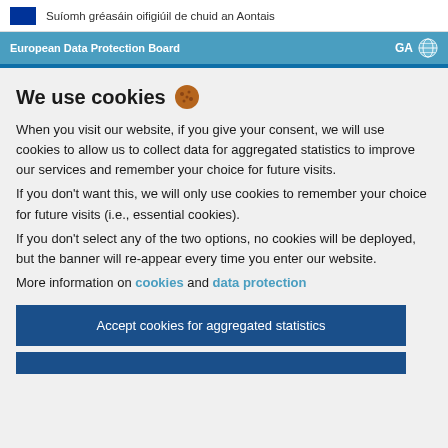Suíomh gréasáin oifigiúil de chuid an Aontais
European Data Protection Board  GA
We use cookies 🍪
When you visit our website, if you give your consent, we will use cookies to allow us to collect data for aggregated statistics to improve our services and remember your choice for future visits.
If you don't want this, we will only use cookies to remember your choice for future visits (i.e., essential cookies).
If you don't select any of the two options, no cookies will be deployed, but the banner will re-appear every time you enter our website.
More information on cookies and data protection
Accept cookies for aggregated statistics